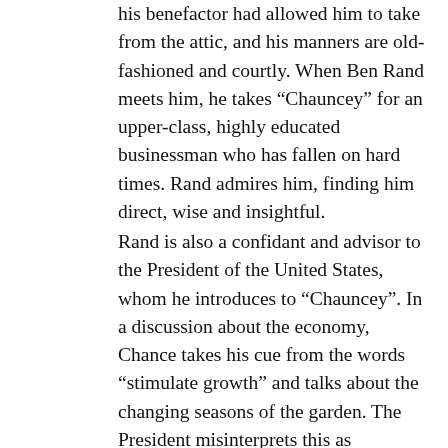his benefactor had allowed him to take from the attic, and his manners are old-fashioned and courtly. When Ben Rand meets him, he takes “Chauncey” for an upper-class, highly educated businessman who has fallen on hard times. Rand admires him, finding him direct, wise and insightful. Rand is also a confidant and advisor to the President of the United States, whom he introduces to “Chauncey”. In a discussion about the economy, Chance takes his cue from the words “stimulate growth” and talks about the changing seasons of the garden. The President misinterprets this as optimistic political advice and quotes “Chauncey Gardiner” in a speech. Chance now rises to national prominence, attends important dinners, develops a close connection with the Soviet ambassador, and appears on a television talk show during which his detailed advice about what a serious gardener should do is misunderstood as his opinion on what would be his presidential policy. Though he has now risen to the top of Washington society, the Secret Service and some 16 other agencies are unable to find any background information on him. During this time Rand’s physician, Dr. Allenby, becomes increasingly